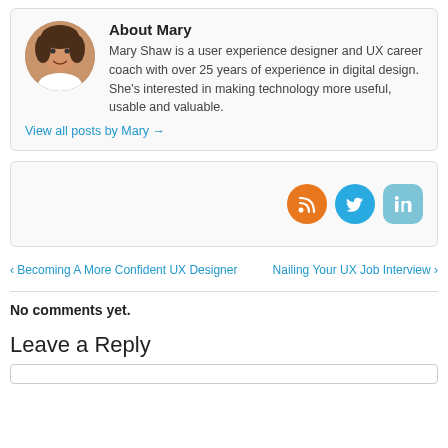About Mary
Mary Shaw is a user experience designer and UX career coach with over 25 years of experience in digital design. She's interested in making technology more useful, usable and valuable.
View all posts by Mary →
[Figure (other): Social media icons: RSS (orange), Twitter (blue), LinkedIn (light blue)]
< Becoming A More Confident UX Designer
Nailing Your UX Job Interview >
No comments yet.
Leave a Reply